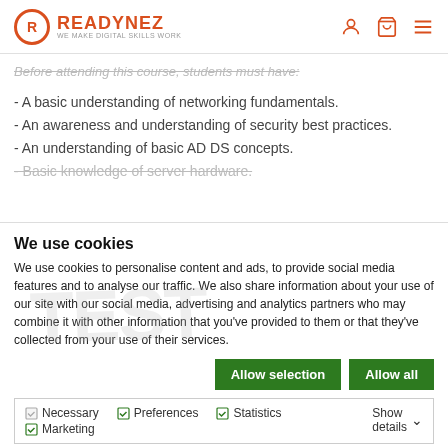READYNEZ - WE MAKE DIGITAL SKILLS WORK
Before attending this course, students must have:
- A basic understanding of networking fundamentals.
- An awareness and understanding of security best practices.
- An understanding of basic AD DS concepts.
- Basic knowledge of server hardware.
We use cookies
We use cookies to personalise content and ads, to provide social media features and to analyse our traffic. We also share information about your use of our site with our social media, advertising and analytics partners who may combine it with other information that you've provided to them or that they've collected from your use of their services.
Allow selection | Allow all
Necessary | Preferences | Statistics | Marketing | Show details